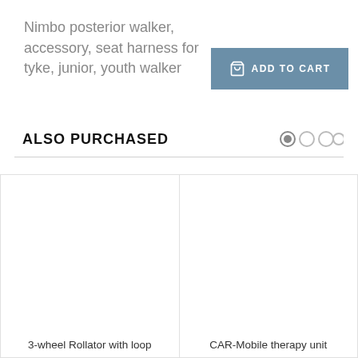Nimbo posterior walker, accessory, seat harness for tyke, junior, youth walker
[Figure (other): Add to Cart button with shopping bag icon, steel blue background, white text reading ADD TO CART]
ALSO PURCHASED
[Figure (other): Carousel navigation dots: one filled (active), three empty circles]
[Figure (other): Product card placeholder image area for 3-wheel Rollator with loop brakes]
3-wheel Rollator with loop
[Figure (other): Product card placeholder image area for CAR-Mobile therapy unit]
CAR-Mobile therapy unit